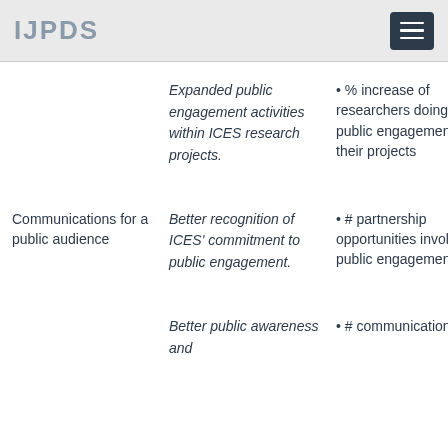IJPDS
|  | Outcome | Indicator |
| --- | --- | --- |
|  | Expanded public engagement activities within ICES research projects. | • % increase of researchers doing public engagement in their projects |
| Communications for a public audience | Better recognition of ICES' commitment to public engagement. | • # partnership opportunities involving public engagement |
|  | Better public awareness and | • # communications |